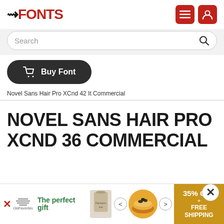FFONTS
Search
Buy Font
Novel Sans Hair Pro XCnd 42 It Commercial
NOVEL SANS HAIR PRO XCND 36 COMMERCIAL
[Figure (other): Advertisement banner: The perfect gift, food product image, 35% OFF + FREE SHIPPING]
[Figure (other): Close X button for advertisement]